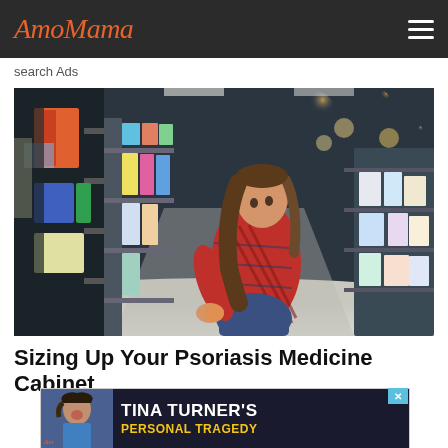AmoMama
search Ads
[Figure (photo): Woman in a red plaid shirt crouching in a store aisle, reading a product label while shopping. Store shelves with various products visible on both sides. Bokeh lighting in the background.]
Sizing Up Your Psoriasis Medicine Cabinet
[Figure (infographic): Advertisement banner showing a woman (Tina Turner) with text 'TINA TURNER'S PERSONAL TRAGEDY' on a dark background with an AmoMama logo and a blue X close button.]